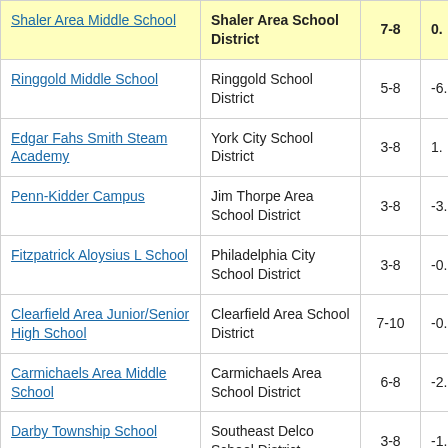| School | District | Grades | Value |
| --- | --- | --- | --- |
| Shaler Area Middle School | Shaler Area School District | 7-8 | 0. |
| Ringgold Middle School | Ringgold School District | 5-8 | -6. |
| Edgar Fahs Smith Steam Academy | York City School District | 3-8 | 1. |
| Penn-Kidder Campus | Jim Thorpe Area School District | 3-8 | -3. |
| Fitzpatrick Aloysius L School | Philadelphia City School District | 3-8 | -0. |
| Clearfield Area Junior/Senior High School | Clearfield Area School District | 7-10 | -0. |
| Carmichaels Area Middle School | Carmichaels Area School District | 6-8 | -2. |
| Darby Township School | Southeast Delco School District | 3-8 | -1. |